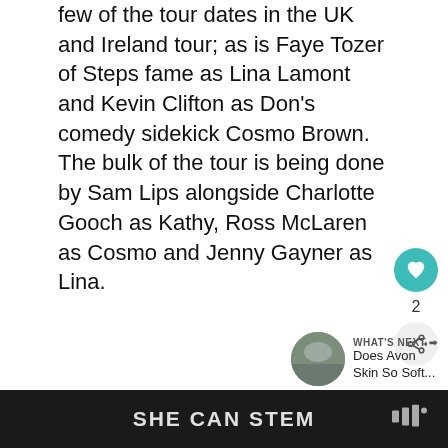few of the tour dates in the UK and Ireland tour; as is Faye Tozer of Steps fame as Lina Lamont and Kevin Clifton as Don's comedy sidekick Cosmo Brown. The bulk of the tour is being done by Sam Lips alongside Charlotte Gooch as Kathy, Ross McLaren as Cosmo and Jenny Gayner as Lina.
[Figure (other): Gray placeholder image panel with social interaction buttons (heart/like button in teal showing count of 2, and share button), and a 'What's Next' recommendation showing a thumbnail and text 'Does Avon Skin So Soft...']
SHE CAN STEM